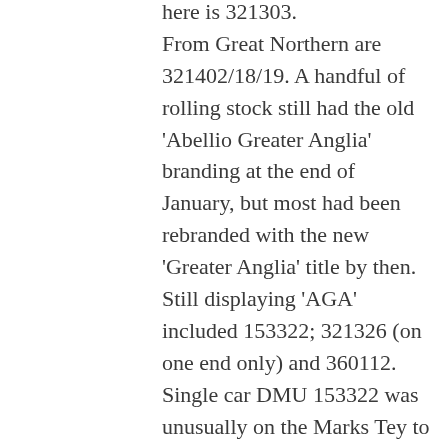here is 321303. From Great Northern are 321402/18/19. A handful of rolling stock still had the old 'Abellio Greater Anglia' branding at the end of January, but most had been rebranded with the new 'Greater Anglia' title by then. Still displaying 'AGA' included 153322; 321326 (on one end only) and 360112. Single car DMU 153322 was unusually on the Marks Tey to Sudbury on Tuesday 24/1/17. Class 153s normally only work this route at weekends. On 26–27/1/17, there was severe disruption on the GEML due to OLE